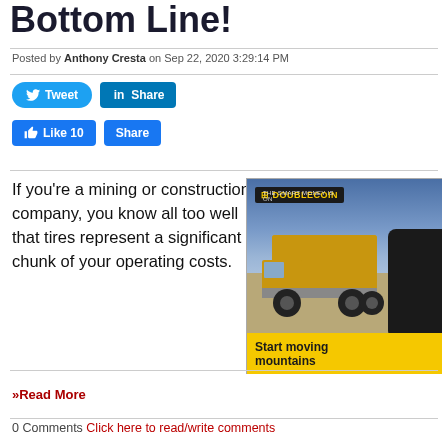Bottom Line!
Posted by Anthony Cresta on Sep 22, 2020 3:29:14 PM
[Figure (other): Social media share buttons: Tweet (Twitter), Share (LinkedIn), Like 10 (Facebook), Share (Facebook)]
If you're a mining or construction company, you know all too well that tires represent a significant chunk of your operating costs.
[Figure (photo): Double Coin tire advertisement showing a large yellow mining dump truck on a construction site with the tagline 'Start moving mountains']
»Read More
0 Comments Click here to read/write comments